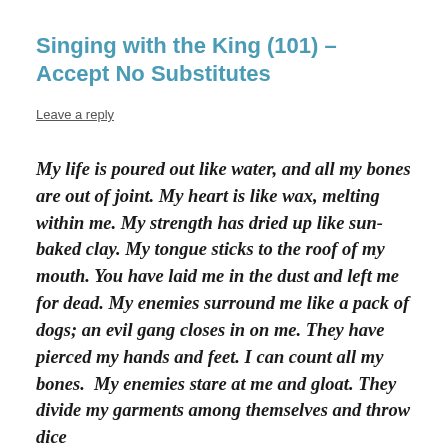Singing with the King (101) – Accept No Substitutes
Leave a reply
My life is poured out like water, and all my bones are out of joint. My heart is like wax, melting within me. My strength has dried up like sun-baked clay. My tongue sticks to the roof of my mouth. You have laid me in the dust and left me for dead. My enemies surround me like a pack of dogs; an evil gang closes in on me. They have pierced my hands and feet. I can count all my bones.  My enemies stare at me and gloat. They divide my garments among themselves and throw dice